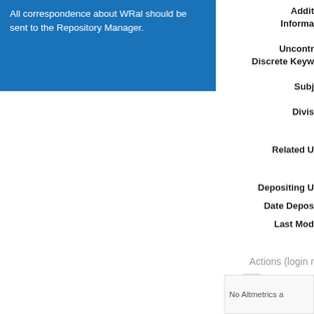All correspondence about WRal should be sent to the Repository Manager.
Additional Information
Uncontrolled Discrete Keywords
Subject
Division
Related U
Depositing U
Date Depos
Last Mod
Actions (login r
View Item
No Altmetrics a